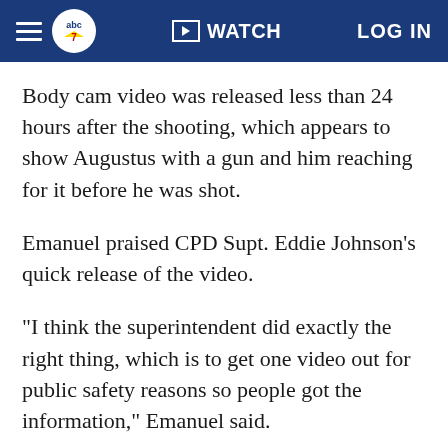abc7 WATCH LOG IN
Body cam video was released less than 24 hours after the shooting, which appears to show Augustus with a gun and him reaching for it before he was shot.
Emanuel praised CPD Supt. Eddie Johnson's quick release of the video.
"I think the superintendent did exactly the right thing, which is to get one video out for public safety reasons so people got the information," Emanuel said.
The mayor's remarks followed an event honoring nine fallen police officers and their families. Johnson joined him to further explain why the body cam,